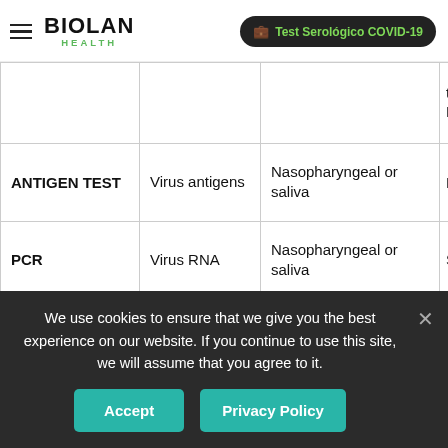BIOLAN HEALTH — Test Serológico COVID-19
|  |  |  |  |
| --- | --- | --- | --- |
|  |  |  | test: Fast |
| ANTIGEN TEST | Virus antigens | Nasopharyngeal or saliva | Fast |
| PCR | Virus RNA | Nasopharyngeal or saliva | Slow |
Therefore, depending on the purpose of these SARS-CoV-2 coronavirus detection tests, it will be better to choose
We use cookies to ensure that we give you the best experience on our website. If you continue to use this site, we will assume that you agree to it.